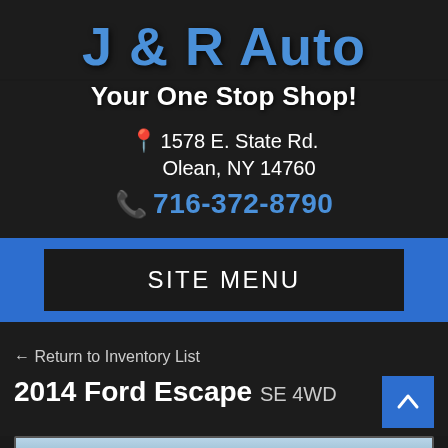J & R Auto
Your One Stop Shop!
1578 E. State Rd. Olean, NY 14760
716-372-8790
SITE MENU
← Return to Inventory List
2014 Ford Escape SE 4WD
[Figure (photo): Photo of a 2014 Ford Escape vehicle in a snowy or wintry outdoor setting]